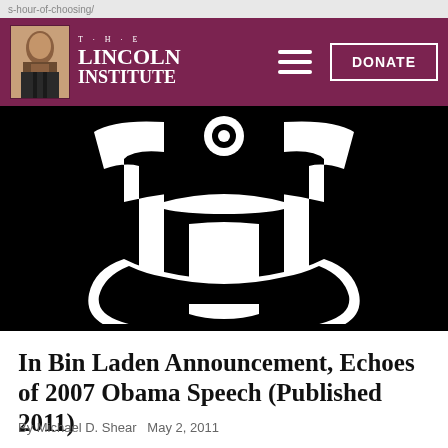THE LINCOLN INSTITUTE | DONATE
[Figure (logo): New York Times stylized 'T' logo in white on black background]
In Bin Laden Announcement, Echoes of 2007 Obama Speech (Published 2011)
By Michael D. Shear   May 2, 2011